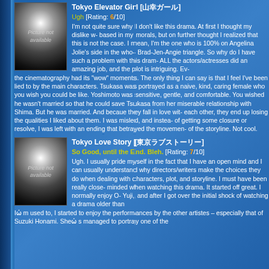Tokyo Elevator Girl [日本語タイトル]
Ugh [Rating: 6/10]
I'm not quite sure why I don't like this drama. At first I thought my dislike was based in my morals, but on further thought I realized that this is not the case. I mean, I'm the one who is 100% on Angelina Jolie's side in the whole Brad-Jen-Angie triangle. So why do I have such a problem with this drama? ALL the actors/actresses did an amazing job, and the plot is intriguing. Even the cinematography had its "wow" moments. The only thing I can say is that I feel I've been lied to by the main characters. Tsukasa was portrayed as a naive, kind, caring female who you wish you could be like. Yoshimoto was sensitive, gentle, and comfortable. You wished he wasn't married so that he could save Tsukasa from her miserable relationship with Shima. But he was married. And becaue they fall in love with each other, they end up losing the qualities I liked about them. I was misled, and instead of getting some closure or resolve, I was left with an ending that betrayed the movement of the storyline. Not cool.
Tokyo Love Story [日本語タイトル]
So Good, until the End. Bleh. [Rating: 7/10]
Ugh. I usually pride myself in the fact that I have an open mind and I can usually understand why directors/writers make the choices they do when dealing with characters, plot, and storyline. I must have been really close-minded when watching this drama. It started off great. I normally enjoy Oda Yuji, and after I got over the initial shock of watching a drama older than I'm used to, I started to enjoy the performances by the other artistes &#8211; especially that of Suzuki Honami. She's managed to portray one of the...